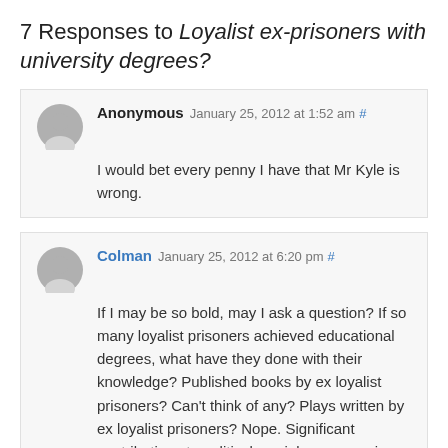7 Responses to Loyalist ex-prisoners with university degrees?
Anonymous January 25, 2012 at 1:52 am #
I would bet every penny I have that Mr Kyle is wrong.
Colman January 25, 2012 at 6:20 pm #
If I may be so bold, may I ask a question? If so many loyalist prisoners achieved educational degrees, what have they done with their knowledge? Published books by ex loyalist prisoners? Can't think of any? Plays written by ex loyalist prisoners? Nope. Significant contributions to political, social or economic debate by ex loyalist prisoners? Pinch me, I can't think of any. In fact, those on the loyalist side who have offered any cultural discourse have usually been